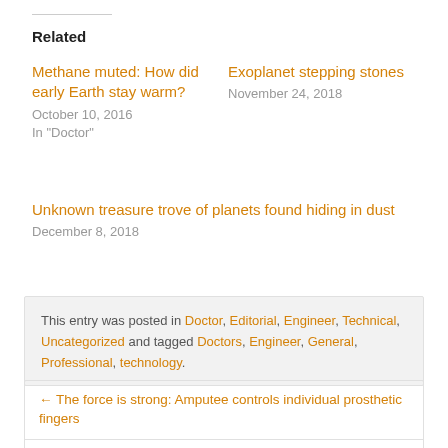Related
Methane muted: How did early Earth stay warm?
October 10, 2016
In "Doctor"
Exoplanet stepping stones
November 24, 2018
Unknown treasure trove of planets found hiding in dust
December 8, 2018
This entry was posted in Doctor, Editorial, Engineer, Technical, Uncategorized and tagged Doctors, Engineer, General, Professional, technology.
← The force is strong: Amputee controls individual prosthetic fingers
Direct amygdala stimulation can enhance human memory →